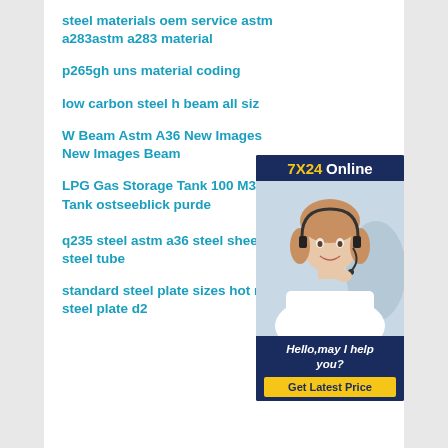steel materials oem service astm a283astm a283 material
p265gh uns material coding
low carbon steel h beam all siz
W Beam Astm A36 New Images New Images Beam
[Figure (illustration): Customer service chat widget with 7X24 Online header, photo of smiling woman with headset, Hello may I help you text, and Get Latest Price button]
LPG Gas Storage Tank 100 M3 Tank ostseeblick purde
q235 steel astm a36 steel sheetq235 steel tube
standard steel plate sizes hot rolled steel plate d2